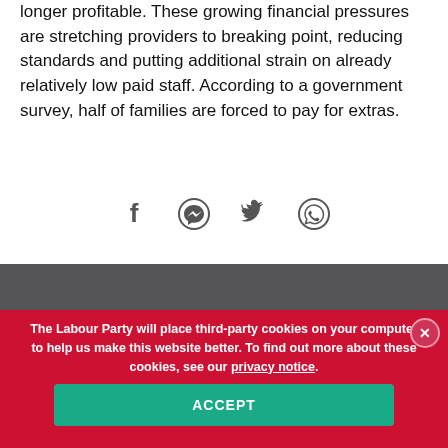longer profitable. These growing financial pressures are stretching providers to breaking point, reducing standards and putting additional strain on already relatively low paid staff. According to a government survey, half of families are forced to pay for extras.
[Figure (infographic): Four social media sharing icons: Facebook, Facebook Messenger, Twitter, WhatsApp]
The Labour Party will place third-party cookies on your computer to help us make this website better. To find out more about these cookies, see our privacy notice.